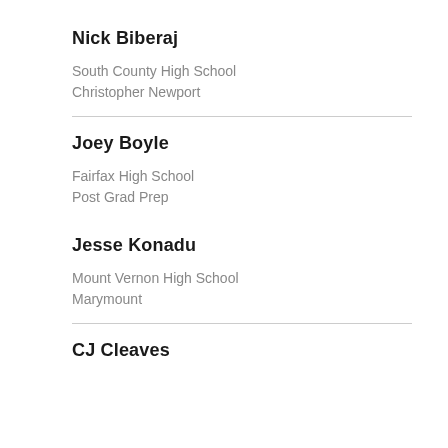Nick Biberaj
South County High School
Christopher Newport
Joey Boyle
Fairfax High School
Post Grad Prep
Jesse Konadu
Mount Vernon High School
Marymount
CJ Cleaves